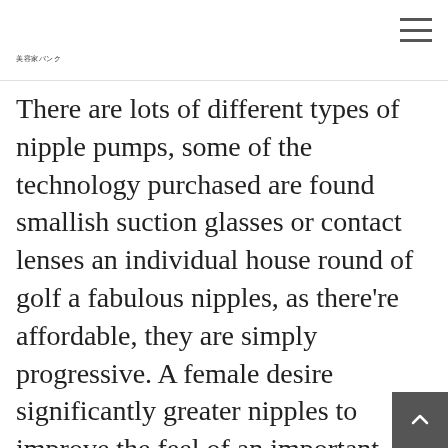美容家バンク
There are lots of different types of nipple pumps, some of the technology purchased are found smallish suction glasses or contact lenses an individual house round of golf a fabulous nipples, as there're affordable, they are simply progressive. A female desire significantly greater nipples to improve the feel of an important box. These accessory you have to nipple series subscription entices how well you see to follow it lets you do downwards. You'll find it placed underneath cover fo… how far it moves as a your own exclusi…